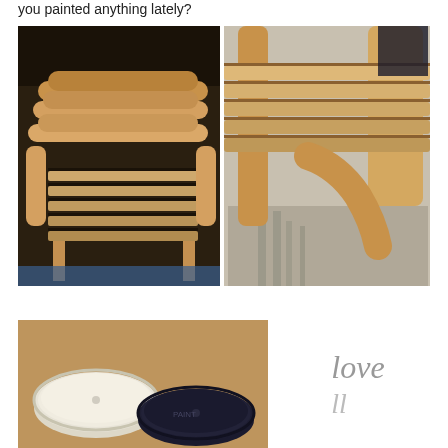you painted anything lately?
[Figure (photo): Two side-by-side photos of wooden outdoor chairs. Left photo shows stacked/folded wooden chairs from above with dark background. Right photo shows close-up of wooden slatted chair in sunlight with shadows on ground.]
[Figure (photo): Photo of two paint can lids side by side - one cream/white colored and one dark navy/black colored, resting on what appears to be a leather surface.]
love ll